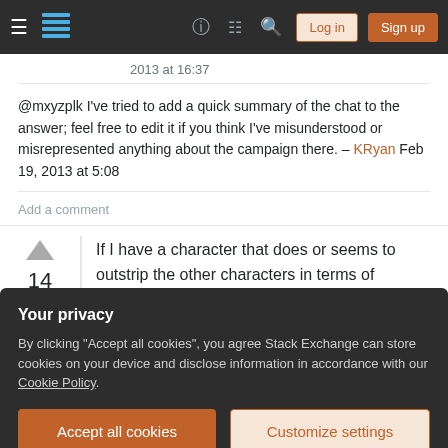Stack Exchange navigation bar with Log in and Sign up buttons
2013 at 16:37
@mxyzplk I've tried to add a quick summary of the chat to the answer; feel free to edit it if you think I've misunderstood or misrepresented anything about the campaign there. – KRyan Feb 19, 2013 at 5:08
Add a comment
If I have a character that does or seems to outstrip the other characters in terms of effectiveness, how can I adjust to at least
Your privacy
By clicking "Accept all cookies", you agree Stack Exchange can store cookies on your device and disclose information in accordance with our Cookie Policy.
Accept all cookies
Customize settings
provide interactions to challenge your character. If both